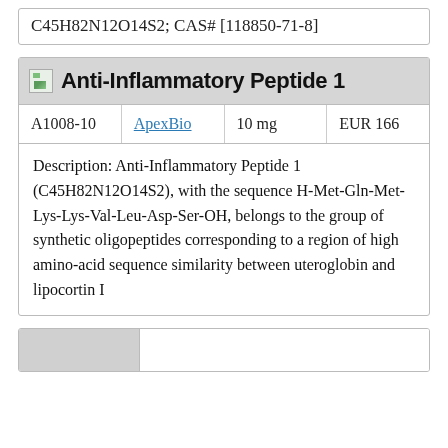C45H82N12O14S2; CAS# [118850-71-8]
Anti-Inflammatory Peptide 1
| A1008-10 | ApexBio | 10 mg | EUR 166 |
| --- | --- | --- | --- |
Description: Anti-Inflammatory Peptide 1 (C45H82N12O14S2), with the sequence H-Met-Gln-Met-Lys-Lys-Val-Leu-Asp-Ser-OH, belongs to the group of synthetic oligopeptides corresponding to a region of high amino-acid sequence similarity between uteroglobin and lipocortin I